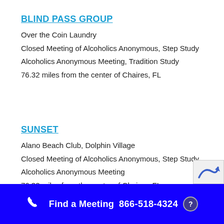BLIND PASS GROUP
Over the Coin Laundry
Closed Meeting of Alcoholics Anonymous, Step Study
Alcoholics Anonymous Meeting, Tradition Study
76.32 miles from the center of Chaires, FL
SUNSET
Alano Beach Club, Dolphin Village
Closed Meeting of Alcoholics Anonymous, Step Study
Alcoholics Anonymous Meeting
76.32 miles from the center of Chaires, FL
Find a Meeting 866-518-4324